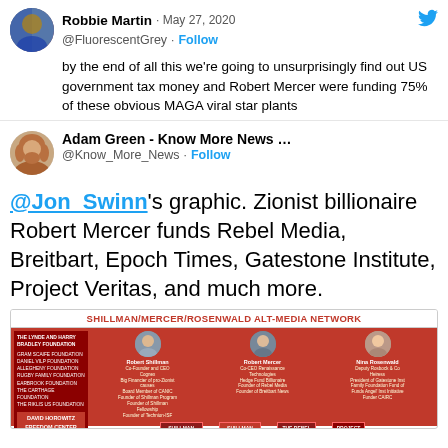Robbie Martin · May 27, 2020
@FluorescentGrey · Follow
by the end of all this we're going to unsurprisingly find out US government tax money and Robert Mercer were funding 75% of these obvious MAGA viral star plants
Adam Green - Know More News …
@Know_More_News · Follow
@Jon_Swinn's graphic. Zionist billionaire Robert Mercer funds Rebel Media, Breitbart, Epoch Times, Gatestone Institute, Project Veritas, and much more.
[Figure (infographic): Infographic titled SHILLMAN/MERCER/ROSENWALD ALT-MEDIA NETWORK showing a network diagram of funders Robert Shillman, Robert Mercer, and Nina Rosenwald connected to various alt-media outlets including Rebel Media, Breitbart, Project Veritas, with funding organizations listed on the left side.]